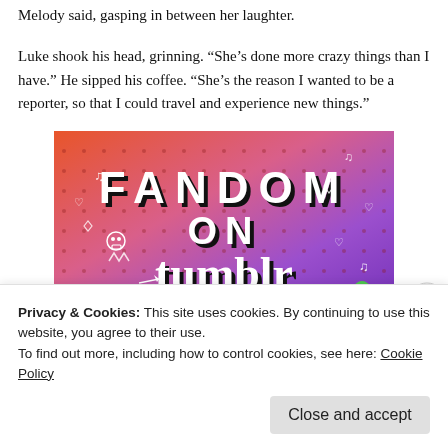Melody said, gasping in between her laughter.
Luke shook his head, grinning. “She’s done more crazy things than I have.” He sipped his coffee. “She’s the reason I wanted to be a reporter, so that I could travel and experience new things.”
[Figure (illustration): Colorful Fandom on Tumblr promotional image with bold white text on an orange-to-purple gradient background, decorated with doodles of skulls, music notes, hearts, arrows, and cartoon characters.]
Privacy & Cookies: This site uses cookies. By continuing to use this website, you agree to their use.
To find out more, including how to control cookies, see here: Cookie Policy
Close and accept